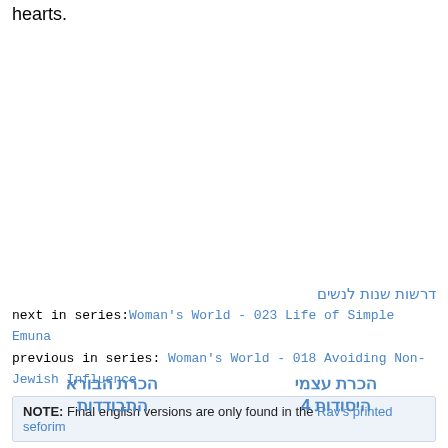hearts.
דרשות שנות לנשים
next in series:Woman's World - 023 Life of Simple Emuna
previous in series: Woman's World - 018 Avoiding Non-Jewish Influence
NOTE: Final english versions are only found in the Rav's printed seforim
הכרת הבורא התבודדות
הכרת עצמי היסודות 4